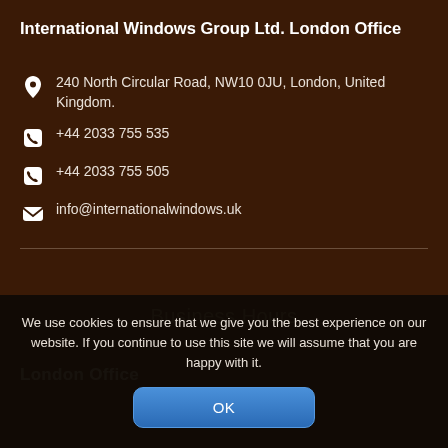International Windows Group Ltd. London Office
240 North Circular Road, NW10 0JU, London, United Kingdom.
+44 2033 755 535
+44 2033 755 505
info@internationalwindows.uk
Business Hours
London Office
We use cookies to ensure that we give you the best experience on our website. If you continue to use this site we will assume that you are happy with it.